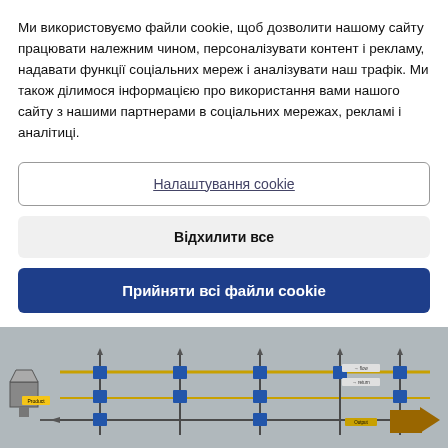Ми використовуємо файли cookie, щоб дозволити нашому сайту працювати належним чином, персоналізувати контент і рекламу, надавати функції соціальних мереж і аналізувати наш трафік. Ми також ділимося інформацією про використання вами нашого сайту з нашими партнерами в соціальних мережах, рекламі і аналітиці.
Налаштування cookie
Відхилити все
Прийняти всі файли cookie
[Figure (engineering-diagram): Partial view of a pneumatic or hydraulic piping/flow engineering diagram with blue valve components, gold/yellow pipelines, and flow arrows on a gray background]